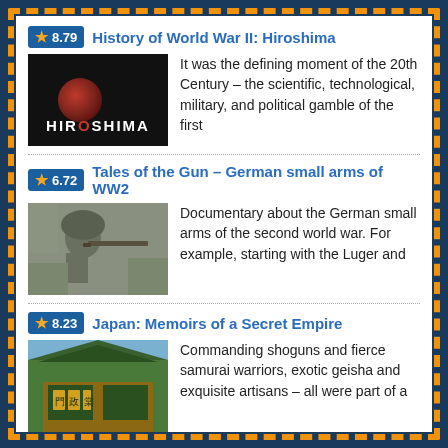8.79 History of World War II: Hiroshima — It was the defining moment of the 20th Century – the scientific, technological, military, and political gamble of the first
6.72 Tales of the Gun – German small arms of WW2 — Documentary about the German small arms of the second world war. For example, starting with the Luger and
8.23 Japan: Memoirs of a Secret Empire — Commanding shoguns and fierce samurai warriors, exotic geisha and exquisite artisans – all were part of a